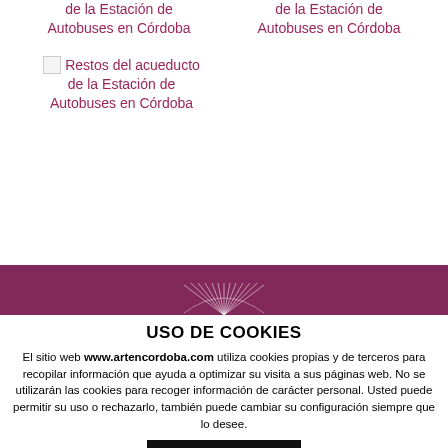de la Estación de Autobuses en Córdoba
de la Estación de Autobuses en Córdoba
Restos del acueducto de la Estación de Autobuses en Córdoba
[Figure (illustration): Purple decorative banner with sunburst/fan motif at bottom center]
USO DE COOKIES
El sitio web www.artencordoba.com utiliza cookies propias y de terceros para recopilar información que ayuda a optimizar su visita a sus páginas web. No se utilizarán las cookies para recoger información de carácter personal. Usted puede permitir su uso o rechazarlo, también puede cambiar su configuración siempre que lo desee.
ACEPTAR